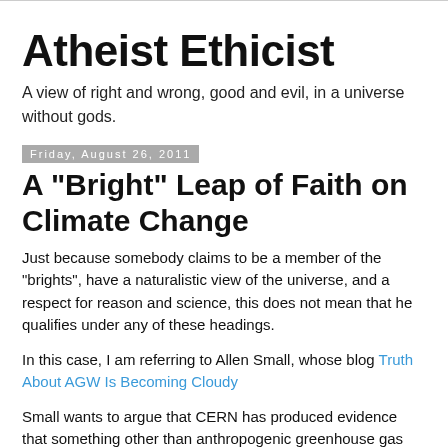Atheist Ethicist
A view of right and wrong, good and evil, in a universe without gods.
Friday, August 26, 2011
A "Bright" Leap of Faith on Climate Change
Just because somebody claims to be a member of the "brights", have a naturalistic view of the universe, and a respect for reason and science, this does not mean that he qualifies under any of these headings.
In this case, I am referring to Allen Small, whose blog Truth About AGW Is Becoming Cloudy
Small wants to argue that CERN has produced evidence that something other than anthropogenic greenhouse gas